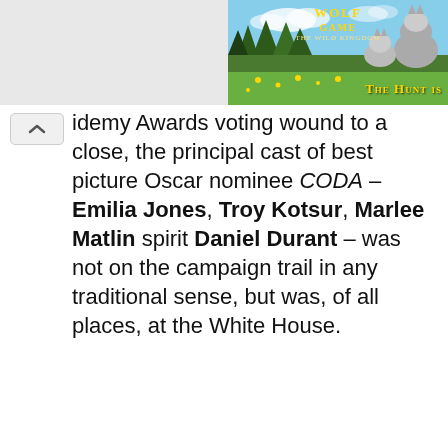[Figure (screenshot): Wolf Game: The Wild Kingdom advertisement banner with wolves in a forested meadow landscape. Shows 'WOLF GAME THE WILD KINGDOM' logo in gold text and 'THE HUNT IS' text at bottom right.]
idemy Awards voting wound to a close, the principal cast of best picture Oscar nominee CODA – Emilia Jones, Troy Kotsur, Marlee Matlin spirit Daniel Durant – was not on the campaign trail in any traditional sense, but was, of all places, at the White House.